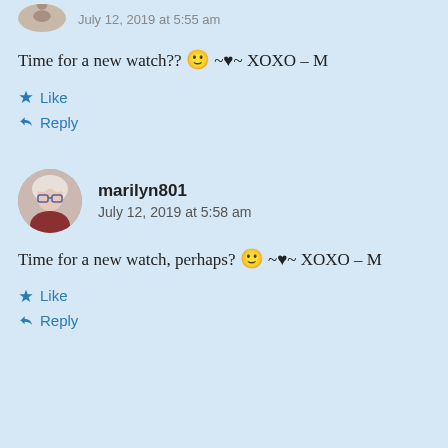July 12, 2019 at 5:55 am
Time for a new watch?? 🙂 ~♥~ XOXO – M
Like
Reply
marilyn801
July 12, 2019 at 5:58 am
Time for a new watch, perhaps? 🙂 ~♥~ XOXO – M
Like
Reply